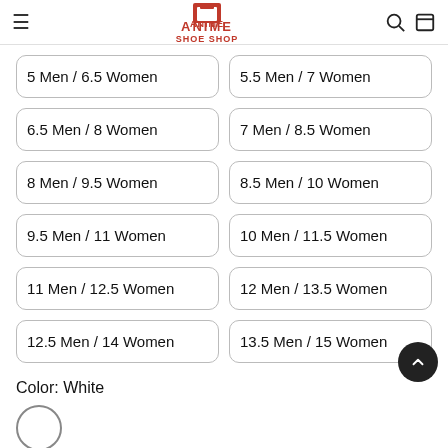ANIME SHOE SHOP
5 Men / 6.5 Women
5.5 Men / 7 Women
6.5 Men / 8 Women
7 Men / 8.5 Women
8 Men / 9.5 Women
8.5 Men / 10 Women
9.5 Men / 11 Women
10 Men / 11.5 Women
11 Men / 12.5 Women
12 Men / 13.5 Women
12.5 Men / 14 Women
13.5 Men / 15 Women
Color: White
[Figure (illustration): White color swatch circle]